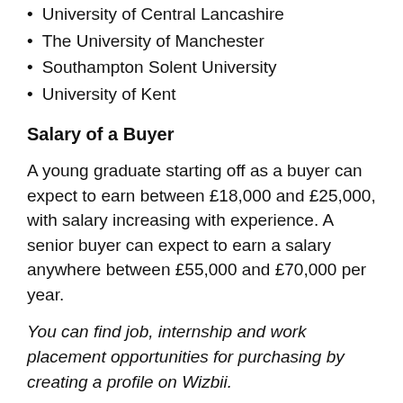University of Central Lancashire
The University of Manchester
Southampton Solent University
University of Kent
Salary of a Buyer
A young graduate starting off as a buyer can expect to earn between £18,000 and £25,000, with salary increasing with experience. A senior buyer can expect to earn a salary anywhere between £55,000 and £70,000 per year.
You can find job, internship and work placement opportunities for purchasing by creating a profile on Wizbii.